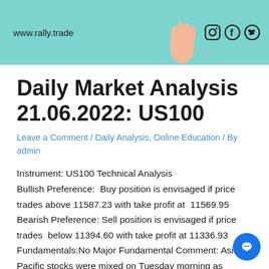[Figure (illustration): Banner advertisement for rally.trade with teal/mint background, showing a hand, website URL www.rally.trade, and social media icons for Instagram, Facebook, and Twitter]
Daily Market Analysis 21.06.2022: US100
Leave a Comment / Daily Analysis, Online Education / By admin
Instrument: US100 Technical Analysis Bullish Preference:  Buy position is envisaged if price trades above 11587.23 with take profit at  11569.95 Bearish Preference: Sell position is envisaged if price trades  below 11394.60 with take profit at 11336.93 Fundamentals:No Major Fundamental Comment: Asia Pacific stocks were mixed on Tuesday morning as investors monitored China's COVID-19 flare-ups. Japan's Nikkei 225 jumped 1.78% by 8:45 PM ET (1:45 ...